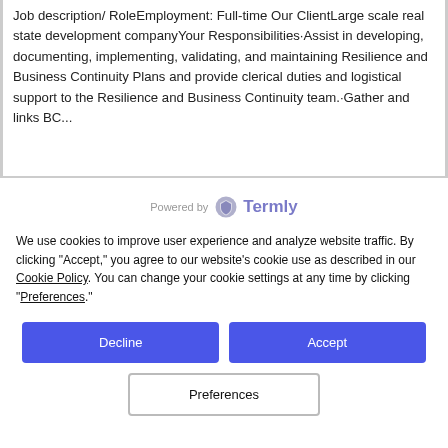Job description/ RoleEmployment: Full-time Our ClientLarge scale real state development companyYour Responsibilities·Assist in developing, documenting, implementing, validating, and maintaining Resilience and Business Continuity Plans and provide clerical duties and logistical support to the Resilience and Business Continuity team.·Gather and links BC...
[Figure (logo): Powered by Termly logo with shield icon]
We use cookies to improve user experience and analyze website traffic. By clicking "Accept," you agree to our website's cookie use as described in our Cookie Policy. You can change your cookie settings at any time by clicking "Preferences."
Decline
Accept
Preferences